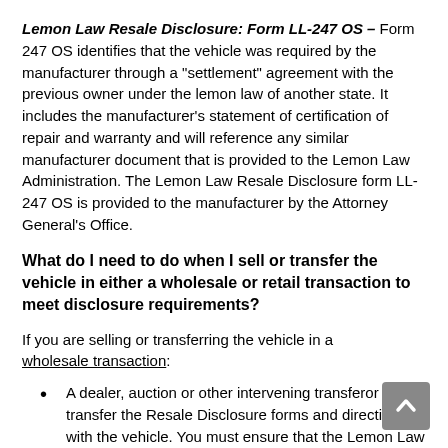Lemon Law Resale Disclosure: Form LL-247 OS – Form 247 OS identifies that the vehicle was required by the manufacturer through a "settlement" agreement with the previous owner under the lemon law of another state. It includes the manufacturer's statement of certification of repair and warranty and will reference any similar manufacturer document that is provided to the Lemon Law Administration. The Lemon Law Resale Disclosure form LL-247 OS is provided to the manufacturer by the Attorney General's Office.
What do I need to do when I sell or transfer the vehicle in either a wholesale or retail transaction to meet disclosure requirements?
If you are selling or transferring the vehicle in a wholesale transaction:
A dealer, auction or other intervening transferor must transfer the Resale Disclosure forms and directions with the vehicle. You must ensure that the Lemon Law Resale Disclosure forms and directions are received by the motor vehicle